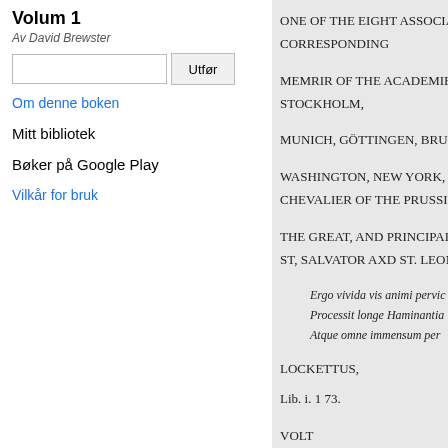Volum 1
Av David Brewster
Utfør (search button)
Om denne boken
Mitt bibliotek
Bøker på Google Play
Vilkår for bruk
ONE OF THE EIGHT ASSOCIA... CORRESPONDING
MEMRIR OF THE ACADEMIE... STOCKHOLM,
MUNICH, GÖTTINGEN, BRU...
WASHINGTON, NEW YORK, ...
CHEVALIER OF THE PRUSSI...
THE GREAT, AND PRINCIPAL...
ST, SALVATOR AXD ST. LEON...
Ergo vivida vis animi pervic...
Processit longe Haminantia...
Atque omne immensum per...
LOCKETTUS,
Lib. i. 1 73.
VOLT